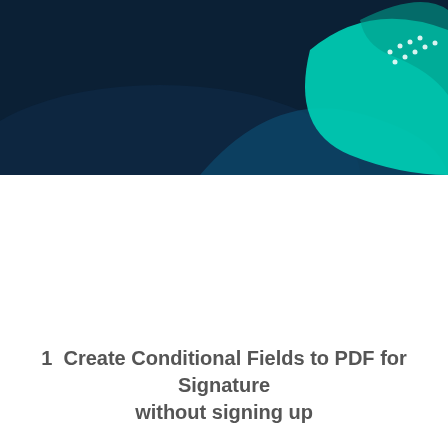[Figure (illustration): Dark navy blue banner header with teal/cyan organic blob shapes on the right side and small white dots pattern]
Create Conditional Fields to PDF for Signature without signing up